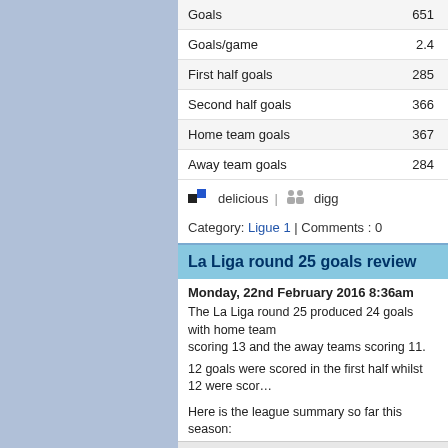|  | Number |
| --- | --- |
| Goals | 651 |
| Goals/game | 2.4 |
| First half goals | 285 |
| Second half goals | 366 |
| Home team goals | 367 |
| Away team goals | 284 |
delicious | digg
Category: Ligue 1 | Comments : 0
La Liga round 25 goals review
Monday, 22nd February 2016 8:36am
The La Liga round 25 produced 24 goals with home team scoring 13 and the away teams scoring 11.
12 goals were scored in the first half whilst 12 were scored in the second half.
Here is the league summary so far this season:
|  | Number |
| --- | --- |
| Matches played | 250 |
| Home wins | 121 |
| Away wins | 65 |